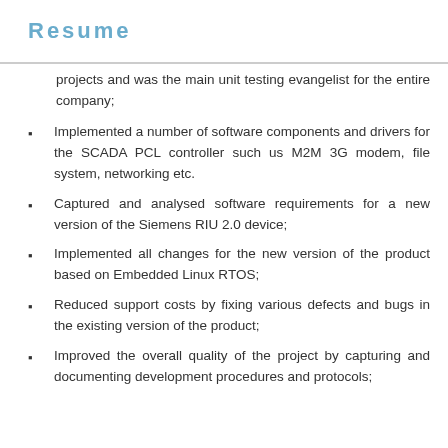Resume
projects and was the main unit testing evangelist for the entire company;
Implemented a number of software components and drivers for the SCADA PCL controller such us M2M 3G modem, file system, networking etc.
Captured and analysed software requirements for a new version of the Siemens RIU 2.0 device;
Implemented all changes for the new version of the product based on Embedded Linux RTOS;
Reduced support costs by fixing various defects and bugs in the existing version of the product;
Improved the overall quality of the project by capturing and documenting development procedures and protocols;